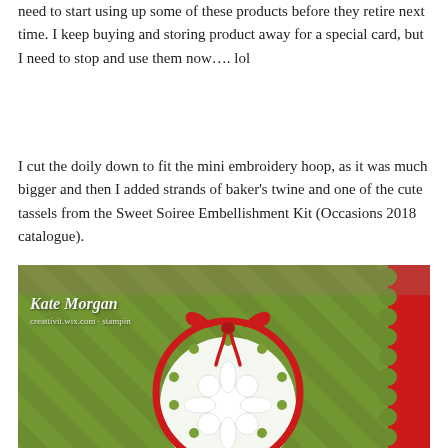need to start using up some of these products before they retire next time. I keep buying and storing product away for a special card, but I need to stop and use them now…. lol
I cut the doily down to fit the mini embroidery hoop, as it was much bigger and then I added strands of baker's twine and one of the cute tassels from the Sweet Soiree Embellishment Kit (Occasions 2018 catalogue).
[Figure (photo): Close-up photo of a craft card featuring a white doily in a mini embroidery hoop with red baker's twine bow, on a green chevron-patterned background with a red decorative border on the right. Watermark reads 'Kate Morgan' and website URL.]